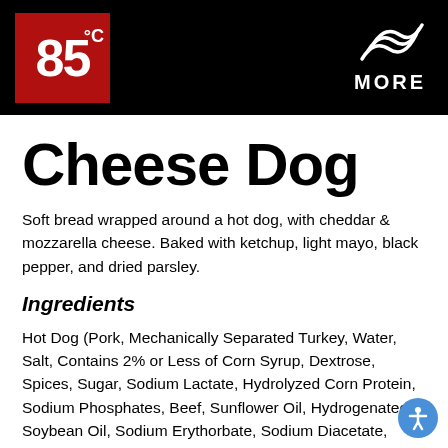[Figure (logo): 85°C bakery logo in red square on black header bar, with wave-style MORE logo on the right]
Cheese Dog
Soft bread wrapped around a hot dog, with cheddar & mozzarella cheese. Baked with ketchup, light mayo, black pepper, and dried parsley.
Ingredients
Hot Dog (Pork, Mechanically Separated Turkey, Water, Salt, Contains 2% or Less of Corn Syrup, Dextrose, Spices, Sugar, Sodium Lactate, Hydrolyzed Corn Protein, Sodium Phosphates, Beef, Sunflower Oil, Hydrogenated Soybean Oil, Sodium Erythorbate, Sodium Diacetate, Oleoresin Paprika, Sodium Nitrite, Natural Flavorings),